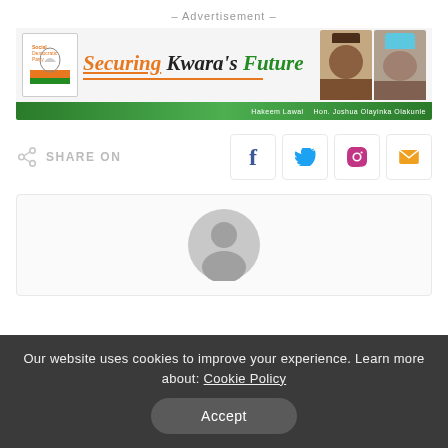– Advertisement –
[Figure (infographic): Advertisement banner for 'Securing Kwara's Future' featuring SDP party logo on left, large orange and green italic text in center, and photos of two politicians on right with a green gradient footer bar showing their names: Hakeem Lawal and Hon. Joshua Olayinka Olakunle.]
SHARE ON
[Figure (infographic): Author avatar placeholder - circular grey silhouette icon of a person]
Our website uses cookies to improve your experience. Learn more about: Cookie Policy
Accept